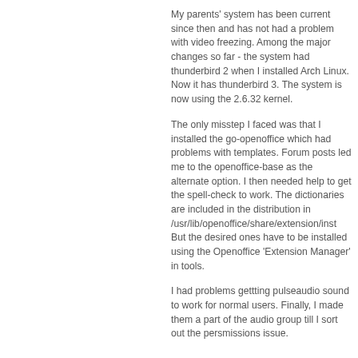My parents' system has been current since then and has not had a problem with video freezing. Among the major changes so far - the system had thunderbird 2 when I installed Arch Linux. Now it has thunderbird 3. The system is now using the 2.6.32 kernel.
The only misstep I faced was that I installed the go-openoffice which had problems with templates. Forum posts led me to the openoffice-base as the alternate option. I then needed help to get the spell-check to work. The dictionaries are included in the distribution in /usr/lib/openoffice/share/extension/inst But the desired ones have to be installed using the Openoffice 'Extension Manager' in tools.
I had problems gettting pulseaudio sound to work for normal users. Finally, I made them a part of the audio group till I sort out the persmissions issue.